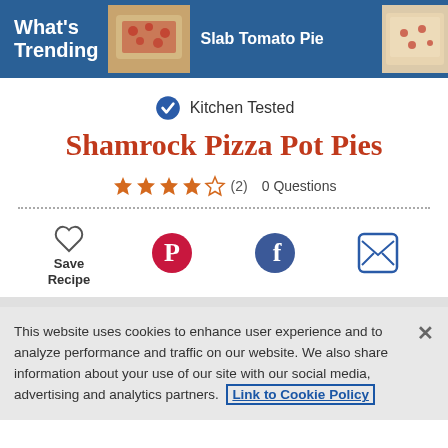What's Trending  Slab Tomato Pie
Kitchen Tested
Shamrock Pizza Pot Pies
★★★★☆ (2)  0 Questions
Save Recipe
This website uses cookies to enhance user experience and to analyze performance and traffic on our website. We also share information about your use of our site with our social media, advertising and analytics partners. Link to Cookie Policy